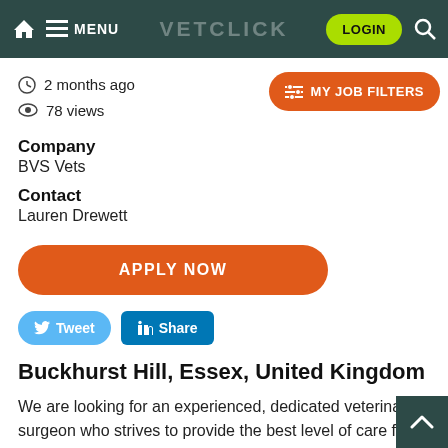VETCLICK — MENU LOGIN
2 months ago
78 views
MY JOB FILTERS
Company
BVS Vets
Contact
Lauren Drewett
APPLY NOW
Tweet   Share
Buckhurst Hill, Essex, United Kingdom
We are looking for an experienced, dedicated veterinary surgeon who strives to provide the best level of care for patients and their